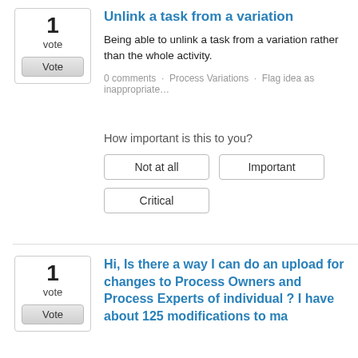Unlink a task from a variation
Being able to unlink a task from a variation rather than the whole activity.
0 comments · Process Variations · Flag idea as inappropriate…
How important is this to you?
Not at all
Important
Critical
Hi, Is there a way I can do an upload for changes to Process Owners and Process Experts of individual ? I have about 125 modifications to ma